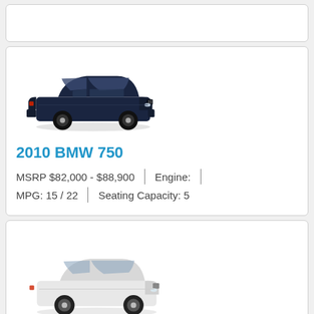[Figure (photo): Top card partially visible — white background card, cropped at top of page]
[Figure (photo): Dark navy blue 2010 BMW 750 sedan, three-quarter front view]
2010 BMW 750
MSRP $82,000 - $88,900  |  Engine:  |
MPG: 15 / 22  |  Seating Capacity: 5
[Figure (photo): White BMW 7-series sedan, three-quarter front-left view, shown in lower card]